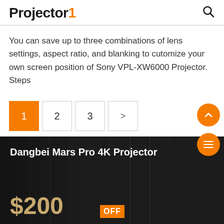Projector1
You can save up to three combinations of lens settings, aspect ratio, and blanking to cutomize your own screen position of Sony VPL-XW6000 Projector. Steps
Pagination: 1, 2, 3, >
[Figure (photo): Dangbei Mars Pro 4K Projector advertisement banner with $200 OFF promotional text on dark background]